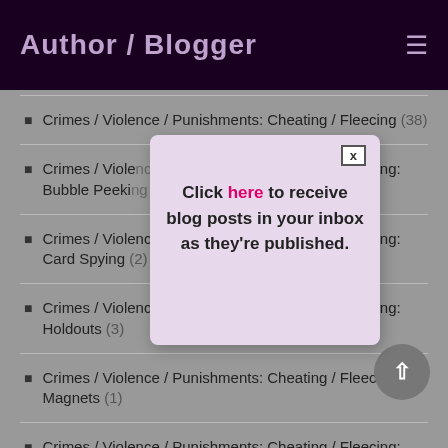Author / Blogger
Crimes / Violence / Punishments: Cheating / Fleecing (38)
Crimes / Violence / Punishments: Cheating / Fleecing: Bubble Peeking
Crimes / Violence / Punishments: Cheating / Fleecing: Card Spying (2)
Crimes / Violence / Punishments: Cheating / Fleecing: Holdouts (3)
Crimes / Violence / Punishments: Cheating / Fleecing: Magnets (1)
Crimes / Violence / Punishments: Cheating / Fleecing:
Click here to receive blog posts in your inbox as they're published.